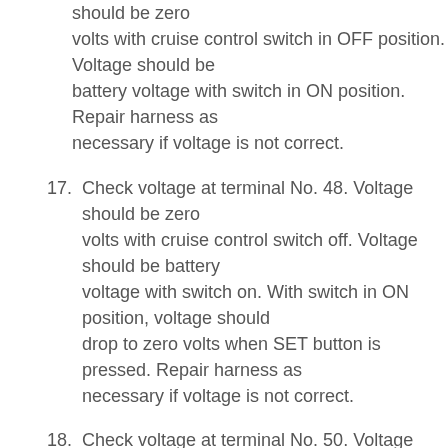should be zero volts with cruise control switch in OFF position. Voltage should be battery voltage with switch in ON position. Repair harness as necessary if voltage is not correct.
17. Check voltage at terminal No. 48. Voltage should be zero volts with cruise control switch off. Voltage should be battery voltage with switch on. With switch in ON position, voltage should drop to zero volts when SET button is pressed. Repair harness as necessary if voltage is not correct.
18. Check voltage at terminal No. 50. Voltage should be zero